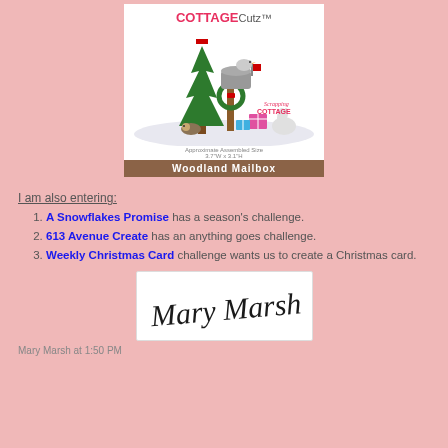[Figure (illustration): Cottage Cutz product image showing Woodland Mailbox die cut set featuring a Christmas tree, mailbox with wreath, bird, rabbit, gifts, and hedgehog on snow, with Scrapping Cottage logo and product title banner.]
I am also entering:
A Snowflakes Promise has a season's challenge.
613 Avenue Create has an anything goes challenge.
Weekly Christmas Card challenge wants us to create a Christmas card.
[Figure (illustration): Handwritten cursive signature reading Mary Marsh on white background.]
Mary Marsh at 1:50 PM